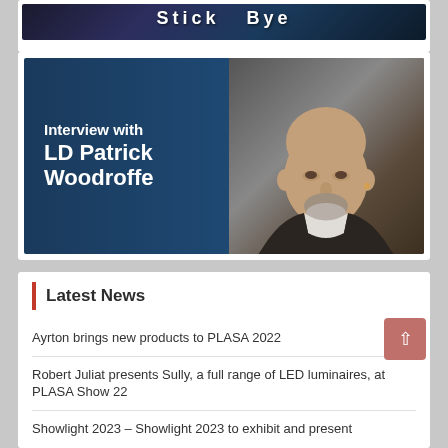[Figure (photo): Partial banner image (cut off at top) showing 'Stick Bye' text on dark concert/event background]
[Figure (photo): Interview banner with text 'Interview with LD Patrick Woodroffe' on navy blue background with photo of a bald man with grey beard]
Latest News
Ayrton brings new products to PLASA 2022
Robert Juliat presents Sully, a full range of LED luminaires, at PLASA Show 22
Showlight 2023 – Showlight 2023 to exhibit and present at PLASA Show 2022